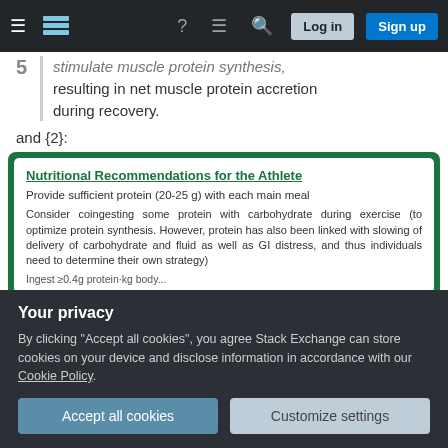Stack Exchange navigation bar with Log in and Sign up buttons
stimulate muscle protein synthesis, resulting in net muscle protein accretion during recovery.
and {2}:
[Figure (screenshot): Green-bordered box titled 'Nutritional Recommendations for the Athlete' with text: 'Provide sufficient protein (20-25 g) with each main meal' and 'Consider coingesting some protein with carbohydrate during exercise (to optimize protein synthesis. However, protein has also been linked with slowing of delivery of carbohydrate and fluid as well as GI distress, and thus individuals need to determine their own strategy)']
Your privacy
By clicking "Accept all cookies", you agree Stack Exchange can store cookies on your device and disclose information in accordance with our Cookie Policy.
(mirror) that I am supposed to eat